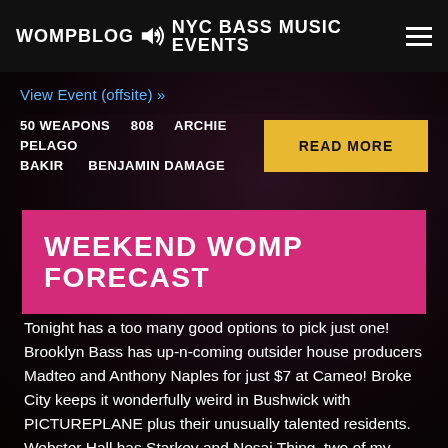WOMPBLOG NYC BASS MUSIC EVENTS
View Event (offsite) »
50 WEAPONS   808   ARCHIE PELAGO   BAKIR   BENJAMIN DAMAGE
READ MORE
WEEKEND WOMP FORECAST
Tonight has a too many good options to pick just one! Brooklyn Bass has up-n-coming outsider house producers Madteo and Anthony Naples for just $7 at Cameo! Broke City keeps it wonderfully weird in Bushwick with PICTUREPLANE plus their unusually talented residents. Webster Hall has Starkey and Nosaj Thing, two of my favorite stateside bass producers who both have a keen